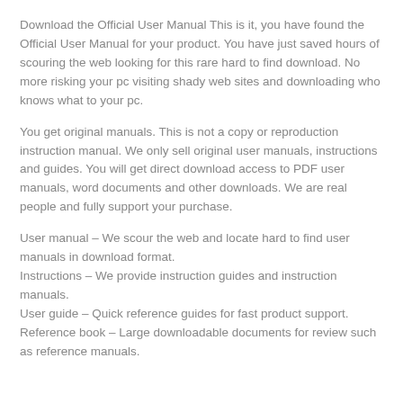Download the Official User Manual This is it, you have found the Official User Manual for your product. You have just saved hours of scouring the web looking for this rare hard to find download. No more risking your pc visiting shady web sites and downloading who knows what to your pc.
You get original manuals. This is not a copy or reproduction instruction manual. We only sell original user manuals, instructions and guides. You will get direct download access to PDF user manuals, word documents and other downloads. We are real people and fully support your purchase.
User manual – We scour the web and locate hard to find user manuals in download format.
Instructions – We provide instruction guides and instruction manuals.
User guide – Quick reference guides for fast product support.
Reference book – Large downloadable documents for review such as reference manuals.